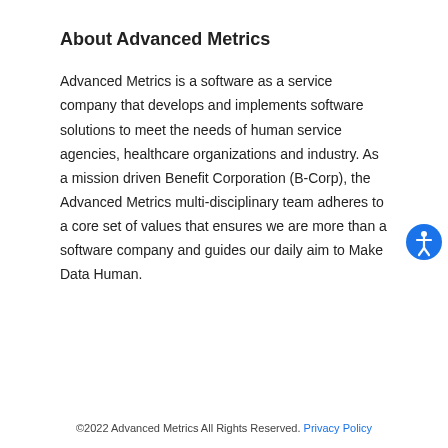About Advanced Metrics
Advanced Metrics is a software as a service company that develops and implements software solutions to meet the needs of human service agencies, healthcare organizations and industry. As a mission driven Benefit Corporation (B-Corp), the Advanced Metrics multi-disciplinary team adheres to a core set of values that ensures we are more than a software company and guides our daily aim to Make Data Human.
©2022 Advanced Metrics All Rights Reserved. Privacy Policy